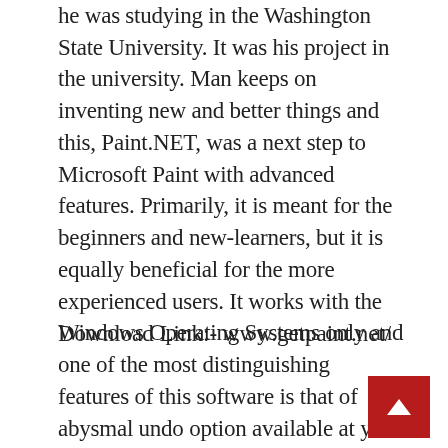he was studying in the Washington State University. It was his project in the university. Man keeps on inventing new and better things and this, Paint.NET, was a next step to Microsoft Paint with advanced features. Primarily, it is meant for the beginners and new-learners, but it is equally beneficial for the more experienced users. It works with the Windows Operating Systems only and one of the most distinguishing features of this software is that of abysmal undo option available at your disposal.
Download Link:- www.getpaint.net/